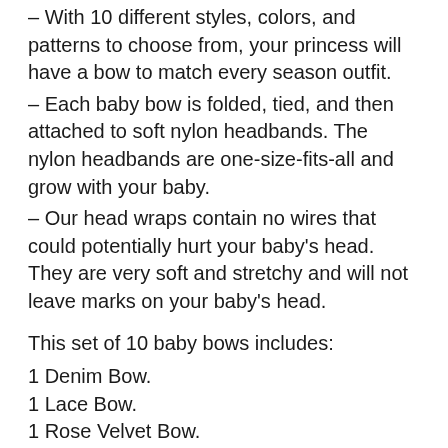– With 10 different styles, colors, and patterns to choose from, your princess will have a bow to match every season outfit.
– Each baby bow is folded, tied, and then attached to soft nylon headbands. The nylon headbands are one-size-fits-all and grow with your baby.
– Our head wraps contain no wires that could potentially hurt your baby's head. They are very soft and stretchy and will not leave marks on your baby's head.
This set of 10 baby bows includes:
1 Denim Bow.
1 Lace Bow.
1 Rose Velvet Bow.
1 Black Striped Bow.
1 Pink Flower Bow.
1 Pink Bow.